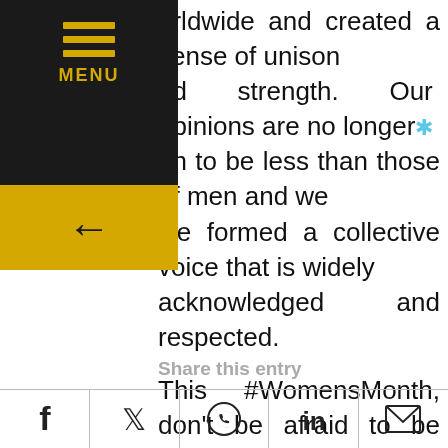worldwide and created a sense of unison and strength. Our opinions are no longer seen to be less than those of men and we have formed a collective voice that is widely acknowledged and respected.

This #WomensMonth, don't be afraid to be social! Celebrate your womanhood and share your thoughts and ideas, it's your space and your tribe is quite large. And chances are you will find others that feel exactly the same as you do.
Share this entry
| f | 🐦 | 💬 | in | ✉ |